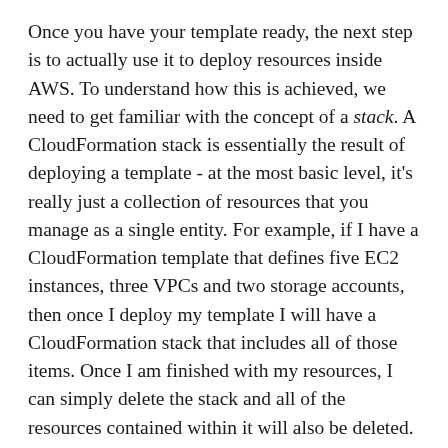Once you have your template ready, the next step is to actually use it to deploy resources inside AWS. To understand how this is achieved, we need to get familiar with the concept of a stack. A CloudFormation stack is essentially the result of deploying a template - at the most basic level, it's really just a collection of resources that you manage as a single entity. For example, if I have a CloudFormation template that defines five EC2 instances, three VPCs and two storage accounts, then once I deploy my template I will have a CloudFormation stack that includes all of those items. Once I am finished with my resources, I can simply delete the stack and all of the resources contained within it will also be deleted.
The other point about CloudFormation stacks is that if one of the resources I've defined within my template can't be created for some reason (perhaps I've made a mistake in that part of the template, or maybe I have tried to use an S3 bucket name that is already taken), then the next step will be handled by the system, or will be...